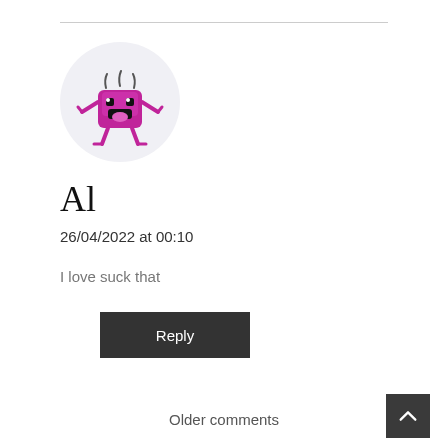[Figure (illustration): Cartoon avatar of a pink/magenta monster character with arms raised, set in a light grey circle background]
Al
26/04/2022 at 00:10
I love suck that
Reply
Older comments